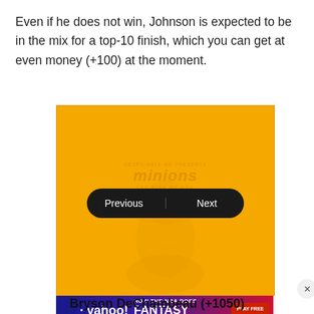Even if he does not win, Johnson is expected to be in the mix for a top-10 finish, which you can get at even money (+100) at the moment.
[Figure (screenshot): Orange promotional banner with Minions movie branding showing a minion silhouette. Navigation bar with Previous and Next buttons overlaid. Below it is an NBA Yahoo Fantasy Basketball advertisement banner with a Play Free button.]
Bryson DeChambeau (+1050)